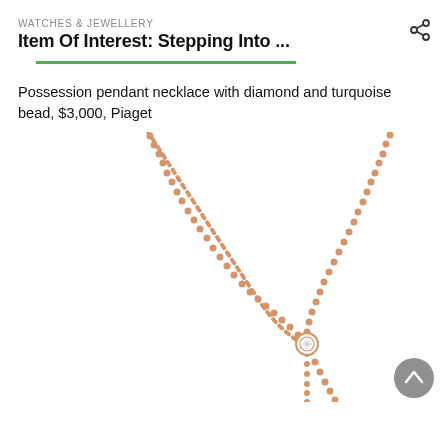WATCHES & JEWELLERY
Item Of Interest: Stepping Into ...
Possession pendant necklace with diamond and turquoise bead, $3,000, Piaget
[Figure (photo): Rose gold chain necklace (Piaget Possession pendant) shown on white background, featuring a V-shape drape with a small diamond bezel pendant drop on the left side and the chain continuing down. A circular back-to-top button is visible in the bottom right corner.]